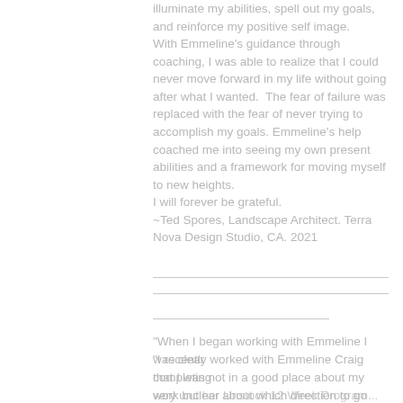illuminate my abilities, spell out my goals, and reinforce my positive self image.
With Emmeline's guidance through coaching, I was able to realize that I could never move forward in my life without going after what I wanted.  The fear of failure was replaced with the fear of never trying to accomplish my goals. Emmeline's help coached me into seeing my own present abilities and a framework for moving myself to new heights.
I will forever be grateful.
~Ted Spores, Landscape Architect. Terra Nova Design Studio, CA. 2021
"When I began working with Emmeline I was clear that I was not in a good place about my work but very unclear about which direction to go and how to
"I recently worked with Emmeline Craig completing her Unstuck 12 Week Program... and had many